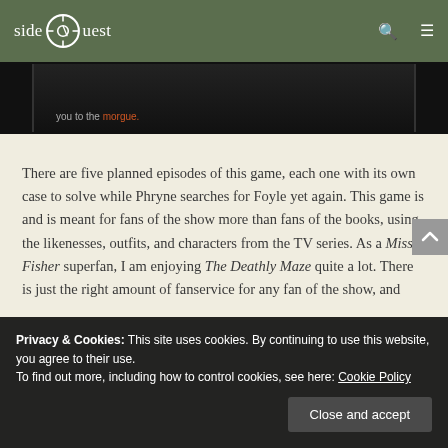sideQuest
[Figure (screenshot): Dark game screenshot showing text 'you to the morgue.' in orange/red color on a dark background]
There are five planned episodes of this game, each one with its own case to solve while Phryne searches for Foyle yet again. This game is and is meant for fans of the show more than fans of the books, using the likenesses, outfits, and characters from the TV series. As a Miss Fisher superfan, I am enjoying The Deathly Maze quite a lot. There is just the right amount of fanservice for any fan of the show, and
Privacy & Cookies: This site uses cookies. By continuing to use this website, you agree to their use.
To find out more, including how to control cookies, see here: Cookie Policy
theatre, this time for the opera. Like in "Ruddy Gore"